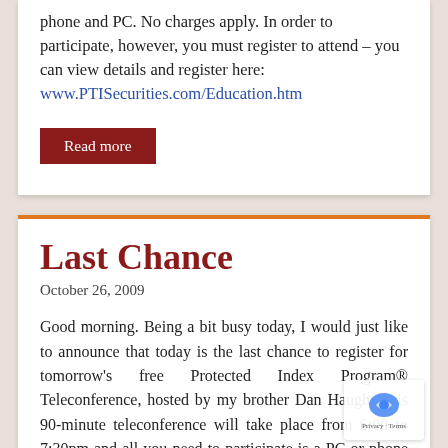phone and PC. No charges apply. In order to participate, however, you must register to attend – you can view details and register here: www.PTISecurities.com/Education.htm
Read more
Last Chance
October 26, 2009
Good morning. Being a bit busy today, I would just like to announce that today is the last chance to register for tomorrow's free Protected Index Program® Teleconference, hosted by my brother Dan Haugh. This 90-minute teleconference will take place from 6:00 to 7:30pm and all you need to participate is a PC or phone — the PC to view the presentation (sent to you as a